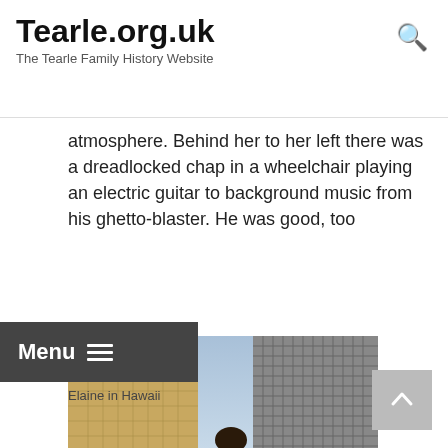Tearle.org.uk
The Tearle Family History Website
atmosphere. Behind her to her left there was a dreadlocked chap in a wheelchair playing an electric guitar to background music from his ghetto-blaster. He was good, too
[Figure (photo): A woman in a floral dress with an open back, standing in front of tall buildings/skyscrapers in Hawaii, viewed from behind. She is carrying a handbag.]
Elaine in Hawaii